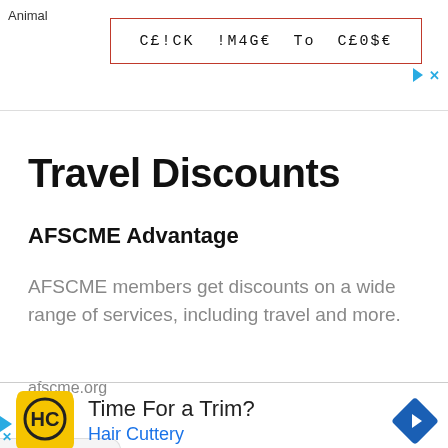Animal
C£!CK !M4G€ To C£0$€
Travel Discounts
AFSCME Advantage
AFSCME members get discounts on a wide range of services, including travel and more.
afscme.org
Time For a Trim?
Hair Cuttery